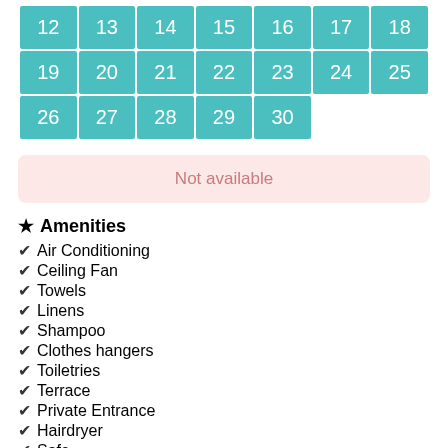| 12 | 13 | 14 | 15 | 16 | 17 | 18 |
| 19 | 20 | 21 | 22 | 23 | 24 | 25 |
| 26 | 27 | 28 | 29 | 30 |  |  |
Not available
★ Amenities
✔ Air Conditioning
✔ Ceiling Fan
✔ Towels
✔ Linens
✔ Shampoo
✔ Clothes hangers
✔ Toiletries
✔ Terrace
✔ Private Entrance
✔ Hairdryer
✔ Safe
💼 Business